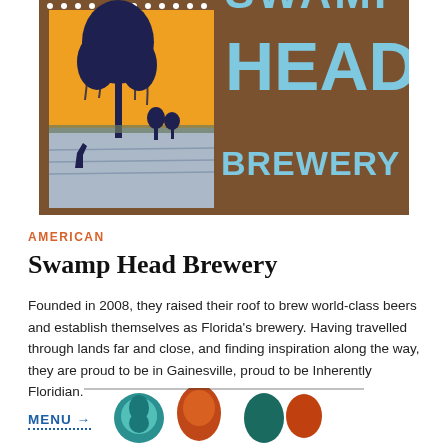[Figure (logo): Swamp Head Brewery logo: brown stamp-style border with a cypress tree scene on the left and 'SWAMP HEAD BREWERY' text in light blue on the right]
AMERICAN
Swamp Head Brewery
Founded in 2008, they raised their roof to brew world-class beers and establish themselves as Florida's brewery. Having travelled through lands far and close, and finding inspiration along the way, they are proud to be in Gainesville, proud to be Inherently Floridian.
MENU →
[Figure (illustration): Partial view of a colorful illustrated image at the bottom of the page, appears to be a decorative brewery-related graphic]